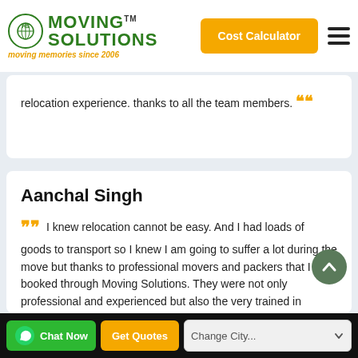Moving Solutions - moving memories since 2006 | Cost Calculator
relocation experience. thanks to all the team members.
Aanchal Singh
I knew relocation cannot be easy. And I had loads of goods to transport so I knew I am going to suffer a lot during the move but thanks to professional movers and packers that I booked through Moving Solutions. They were not only professional and experienced but also the very trained in handling goods. I am surely gonna recommend this company to all
Chat Now | Get Quotes | Change City...